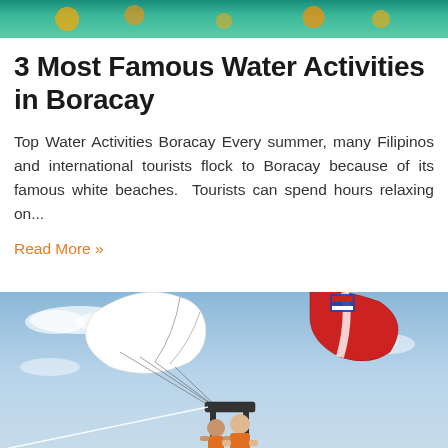[Figure (photo): Top banner image showing colorful underwater or tropical scene with orange and teal colors]
3 Most Famous Water Activities in Boracay
Top Water Activities Boracay Every summer, many Filipinos and international tourists flock to Boracay because of its famous white beaches.  Tourists can spend hours relaxing on...
Read More »
[Figure (photo): Two people parasailing in a blue sky with white parachute canopy above them, wearing life jackets, with red and white parachute visible]